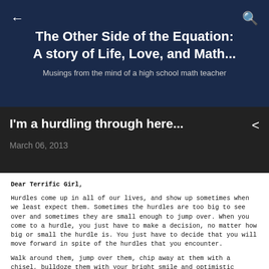The Other Side of the Equation: A story of Life, Love, and Math...
Musings from the mind of a high school math teacher
I'm a hurdling through here...
March 06, 2013
Dear Terrific Girl,

Hurdles come up in all of our lives, and show up sometimes when we least expect them. Sometimes the hurdles are too big to see over and sometimes they are small enough to jump over. When you come to a hurdle, you just have to make a decision, no matter how big or small the hurdle is. You just have to decide that you will move forward in spite of the hurdles that you encounter.

Walk around them, jump over them, chip away at them with a chisel, bulldoze them with your bright smile and optimistic attitude...turn them over and use them as a fort, build something cool and creative out of them, or sell them on ebay.....but WHATEVER YOU DO .....DON'T LET THEM STOP YOU. Not for one single minute.

You are stronger than all of your hurdles...YOU ARE, YOU ARE, YOU ARE. Don't let anything or anyone ever tell you anything different.